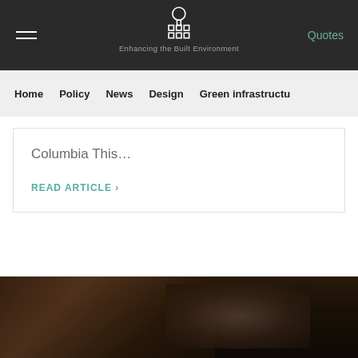Enhancing the Built Environment — Quotes | Home | Policy | News | Design | Green infrastructure
Columbia This...
READ ARTICLE >
[Figure (photo): Dark photo of a person, partially visible at the bottom of the page]